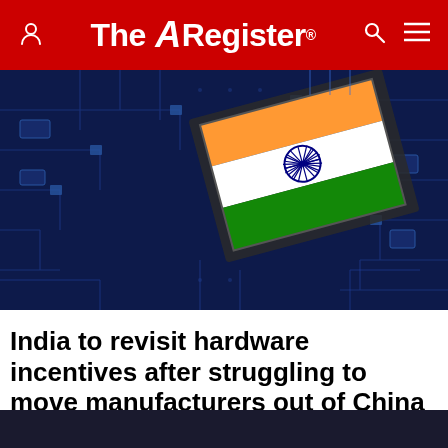The Register
[Figure (photo): Circuit board with Indian flag chip/component overlay on dark blue PCB background]
India to revisit hardware incentives after struggling to move manufacturers out of China
Minister laments Dell, HPE and pals have the market locked up and little incentive to change
SYSTEMS  14 days | 10 comments